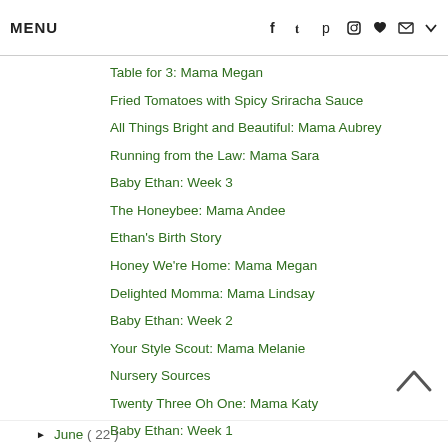MENU   f  t  p  (instagram)  (heart)  (mail)  v
Table for 3: Mama Megan
Fried Tomatoes with Spicy Sriracha Sauce
All Things Bright and Beautiful: Mama Aubrey
Running from the Law: Mama Sara
Baby Ethan: Week 3
The Honeybee: Mama Andee
Ethan's Birth Story
Honey We're Home: Mama Megan
Delighted Momma: Mama Lindsay
Baby Ethan: Week 2
Your Style Scout: Mama Melanie
Nursery Sources
Twenty Three Oh One: Mama Katy
Baby Ethan: Week 1
Hello! Happiness: Mama Natasha
Nat Your Average Girl: Mama Natalie
► June ( 22 )